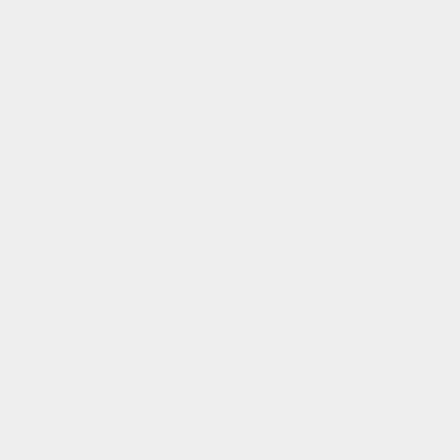for other areas (e.g. a Kingdom Earl Marshal who is a senior marshal for both armoured combat and an authorised fencing marshal